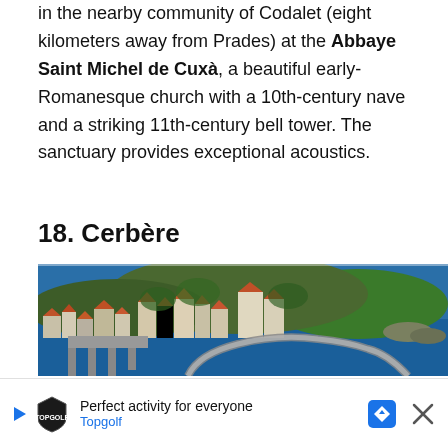in the nearby community of Codalet (eight kilometers away from Prades) at the Abbaye Saint Michel de Cuxà, a beautiful early-Romanesque church with a 10th-century nave and a striking 11th-century bell tower. The sanctuary provides exceptional acoustics.
18. Cerbère
[Figure (photo): Aerial view of Cerbère, a French coastal town with terracotta-roofed buildings on a hillside, a winding coastal road, and deep blue Mediterranean sea.]
Perfect activity for everyone  Topgolf